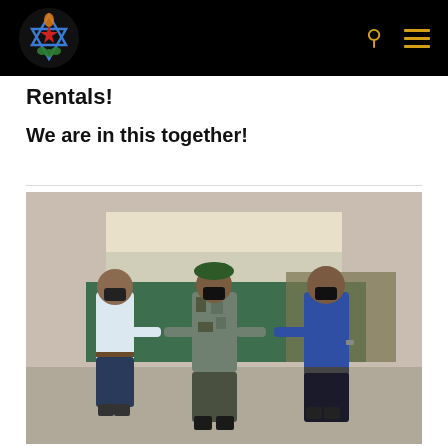Rentals!
We are in this together!
[Figure (photo): Three men wearing face masks doing an elbow bump greeting outdoors. The man on the left wears a white shirt, the man in the center wears a military/police camouflage uniform with a green beret, and the man on the right wears a blue polo shirt. They stand in front of a tent area with supplies.]